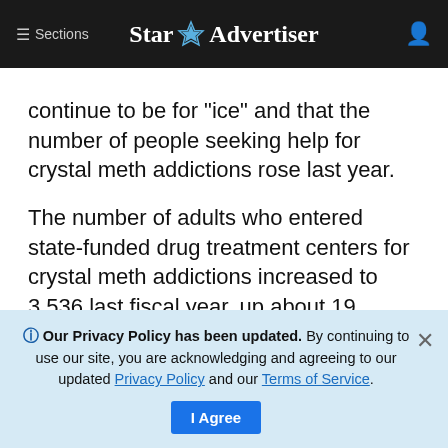≡ Sections  Star Advertiser
continue to be for "ice" and that the number of people seeking help for crystal meth addictions rose last year.
The number of adults who entered state-funded drug treatment centers for crystal meth addictions increased to 3,536 last fiscal year, up about 19 percent from fiscal year 2008 and 8 percent from fiscal year 2007.
Officials attributed some of that spike to new
🛈 Our Privacy Policy has been updated. By continuing to use our site, you are acknowledging and agreeing to our updated Privacy Policy and our Terms of Service. I Agree